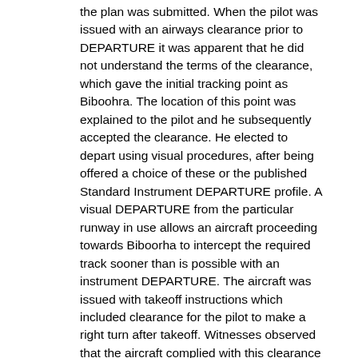the plan was submitted. When the pilot was issued with an airways clearance prior to DEPARTURE it was apparent that he did not understand the terms of the clearance, which gave the initial tracking point as Biboohra. The location of this point was explained to the pilot and he subsequently accepted the clearance. He elected to depart using visual procedures, after being offered a choice of these or the published Standard Instrument DEPARTURE profile. A visual DEPARTURE from the particular runway in use allows an aircraft proceeding towards Biboorha to intercept the required track sooner than is possible with an instrument DEPARTURE. The aircraft was issued with takeoff instructions which included clearance for the pilot to make a right turn after takeoff. Witnesses observed that the aircraft complied with this clearance and headed in a south-westerly direction before turning to the north-west and subsequently entering cloud. The cloud base was estimated to be between 2000 and 2500 feet above mean sea level. No further communications were received from the aircraft and a search was commenced that afternoon. The search effort was